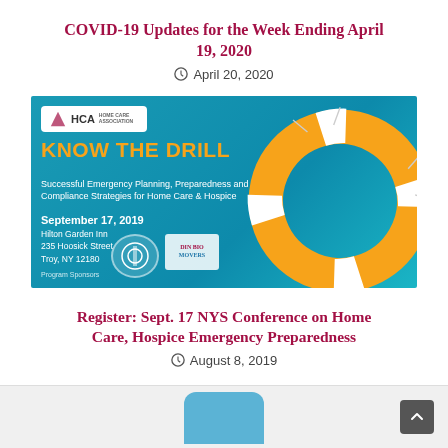COVID-19 Updates for the Week Ending April 19, 2020
April 20, 2020
[Figure (illustration): HCA Know The Drill banner: Successful Emergency Planning, Preparedness and Compliance Strategies for Home Care & Hospice. September 17, 2019. Hilton Garden Inn, 235 Hoosick Street, Troy, NY 12180. Program Sponsors logos shown. Orange life preserver ring on right side.]
Register: Sept. 17 NYS Conference on Home Care, Hospice Emergency Preparedness
August 8, 2019
[Figure (illustration): Bottom of page: light gray background with partial blue rounded shape visible at bottom center. Scroll-to-top button (dark gray) in bottom right corner.]